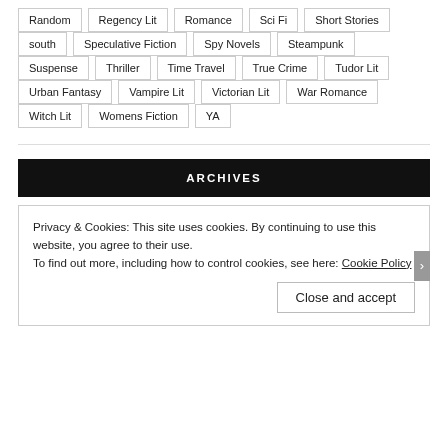Random
Regency Lit
Romance
Sci Fi
Short Stories
south
Speculative Fiction
Spy Novels
Steampunk
Suspense
Thriller
Time Travel
True Crime
Tudor Lit
Urban Fantasy
Vampire Lit
Victorian Lit
War Romance
Witch Lit
Womens Fiction
YA
ARCHIVES
Privacy & Cookies: This site uses cookies. By continuing to use this website, you agree to their use.
To find out more, including how to control cookies, see here: Cookie Policy
Close and accept